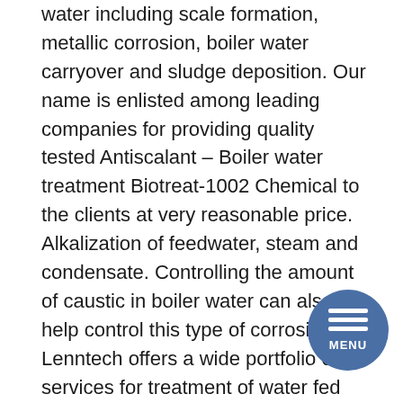water including scale formation, metallic corrosion, boiler water carryover and sludge deposition. Our name is enlisted among leading companies for providing quality tested Antiscalant – Boiler water treatment Biotreat-1002 Chemical to the clients at very reasonable price. Alkalization of feedwater, steam and condensate. Controlling the amount of caustic in boiler water can also help control this type of corrosion. Lenntech offers a wide portfolio of services for treatment of water fed into the boiler. A subdivision of General Electric and GE Power, GE Water and Process Technologies utilizes a comprehensive set of advanced technologies to solve water scarcity, quality, and productivity challenges. They regularly use technologies such as reverse osmosis, demineralization, inorganic metals removal, and chemical addition, etc., to treat boiler feed water. A Steam Boiler treatment program should always include an oxygen scavenger and polymer treatment.